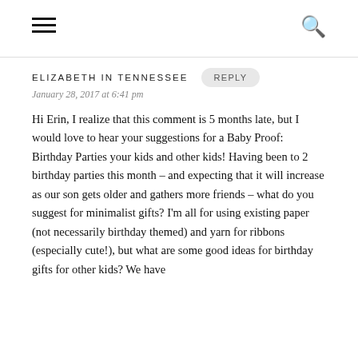≡  🔍
ELIZABETH IN TENNESSEE
January 28, 2017 at 6:41 pm
Hi Erin, I realize that this comment is 5 months late, but I would love to hear your suggestions for a Baby Proof: Birthday Parties your kids and other kids! Having been to 2 birthday parties this month – and expecting that it will increase as our son gets older and gathers more friends – what do you suggest for minimalist gifts? I'm all for using existing paper (not necessarily birthday themed) and yarn for ribbons (especially cute!), but what are some good ideas for birthday gifts for other kids? We have